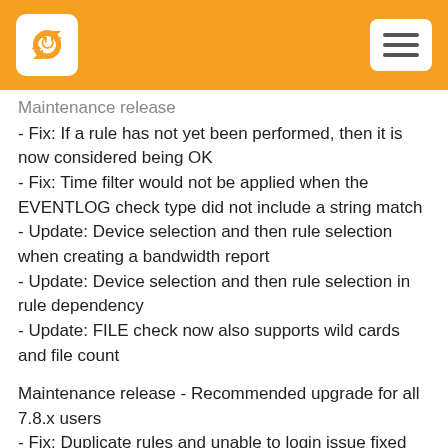Maintenance release
- Fix: If a rule has not yet been performed, then it is now considered being OK
- Fix: Time filter would not be applied when the EVENTLOG check type did not include a string match
- Update: Device selection and then rule selection when creating a bandwidth report
- Update: Device selection and then rule selection in rule dependency
- Update: FILE check now also supports wild cards and file count
Maintenance release - Recommended upgrade for all 7.8.x users
- Fix: Duplicate rules and unable to login issue fixed
- Fix: Pausing groups would not work when multiple groups were paused
- Fix: Clicking on graph icon would not work in older